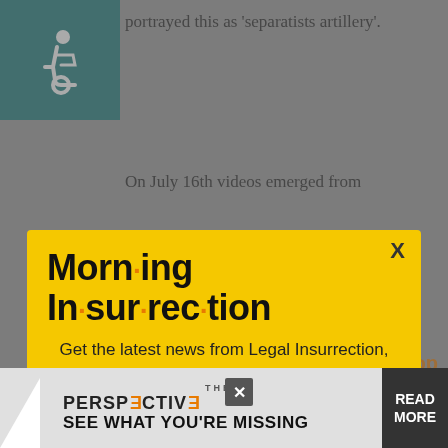[Figure (other): Accessibility icon (wheelchair symbol) in teal square]
portrayed this as 'separatists artillery'.
On July 16th videos emerged from
[Figure (infographic): Morning Insurrection email subscription modal popup with yellow background. Title: 'Morn·ing In·sur·rec·tion' with orange dots. Body text: 'Get the latest news from Legal Insurrection, plus exclusive content, direct to your inbox every morning. Subscribe today – it's free!' Button: 'JOIN NOW']
because they thought it was an
26 but it turned out to be a civilian
[Figure (infographic): THE PERSPECTIVE advertisement banner with triangle logo, text 'SEE WHAT YOU'RE MISSING' and 'READ MORE' button]
But the MH17-BUK was positioned